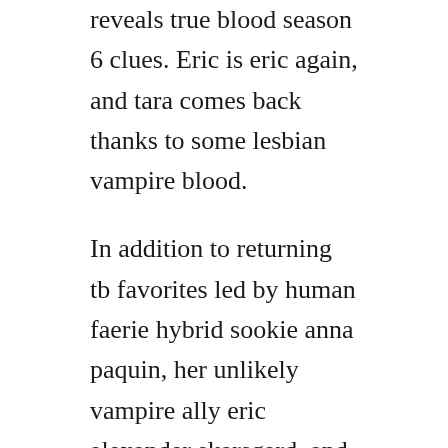reveals true blood season 6 clues. Eric is eric again, and tara comes back thanks to some lesbian vampire blood.
In addition to returning tb favorites led by human faerie hybrid sookie anna paquin, her unlikely vampire ally eric alexander skarsgard, and newly reconstituted supervamp bill stephen moyer season 6 introduces several jarring storylines that threaten what little sense of normalcy remains in and around bon temps. The season had an abbreviated run of ten episodes, as opposed to the usual twelve,